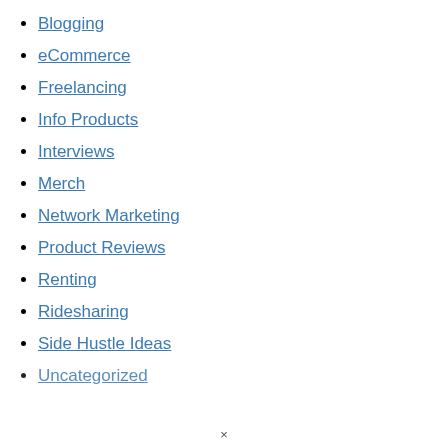Blogging
eCommerce
Freelancing
Info Products
Interviews
Merch
Network Marketing
Product Reviews
Renting
Ridesharing
Side Hustle Ideas
Uncategorized